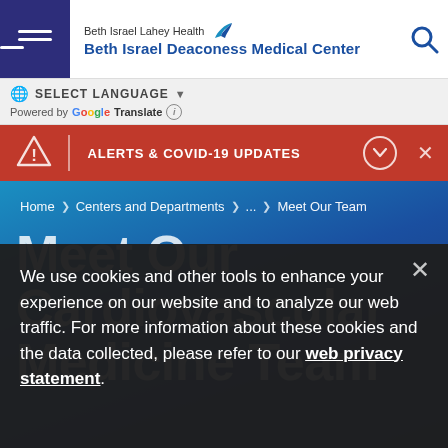Beth Israel Lahey Health Beth Israel Deaconess Medical Center
SELECT LANGUAGE  Powered by Google Translate
ALERTS & COVID-19 UPDATES
Home > Centers and Departments > ... > Meet Our Team
Meet Our Cardiovascular Medicine Team
We use cookies and other tools to enhance your experience on our website and to analyze our web traffic. For more information about these cookies and the data collected, please refer to our web privacy statement.